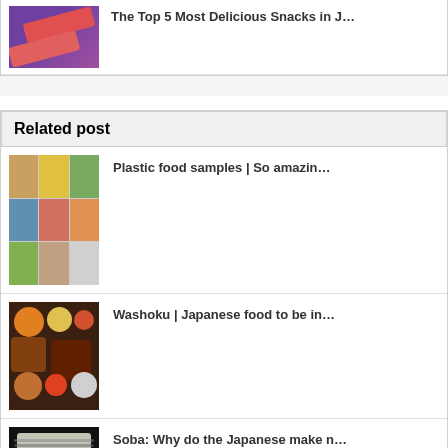[Figure (photo): Japanese snack package with red stick-shaped snacks on purple background]
The Top 5 Most Delicious Snacks in J...
Related post
[Figure (photo): Collage of plastic food sample images showing various Japanese dishes]
Plastic food samples | So amazin...
[Figure (photo): Traditional Japanese Washoku meal spread with multiple dishes]
Washoku | Japanese food to be in...
[Figure (photo): Soba dish on dark background]
Soba: Why do the Japanese make n...